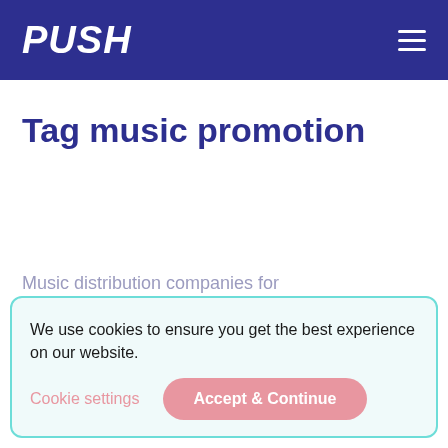PUSH
Tag music promotion
Music distribution companies for independent artists
We use cookies to ensure you get the best experience on our website.
Cookie settings
Accept & Continue